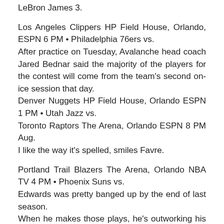LeBron James 3.
Los Angeles Clippers HP Field House, Orlando, ESPN 6 PM • Philadelphia 76ers vs.
After practice on Tuesday, Avalanche head coach Jared Bednar said the majority of the players for the contest will come from the team's second on-ice session that day.
Denver Nuggets HP Field House, Orlando ESPN 1 PM • Utah Jazz vs.
Toronto Raptors The Arena, Orlando ESPN 8 PM Aug.
I like the way it's spelled, smiles Favre.
Portland Trail Blazers The Arena, Orlando NBA TV 4 PM • Phoenix Suns vs.
Edwards was pretty banged up by the end of last season.
When he makes those plays, he's outworking his opponent.